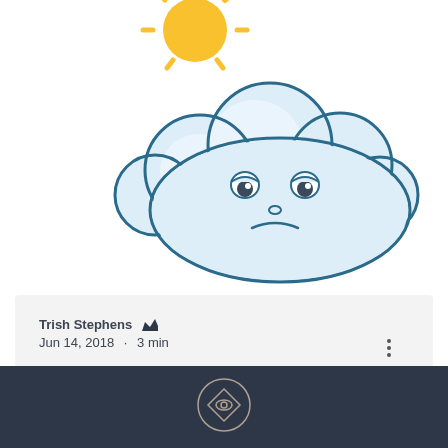[Figure (illustration): Cartoon grumpy cloud character with a frowning face and a small yellow sun peeking behind it, on a white background]
Trish Stephens [crown icon]
Jun 14, 2018 · 3 min
Depression in Summer?
Did you know that Summer time can act as a trigger for depression? While many people associate a downturn in mood to the darker and...
[Figure (logo): Eye/diamond geometric logo in a circle outline on dark navy background]